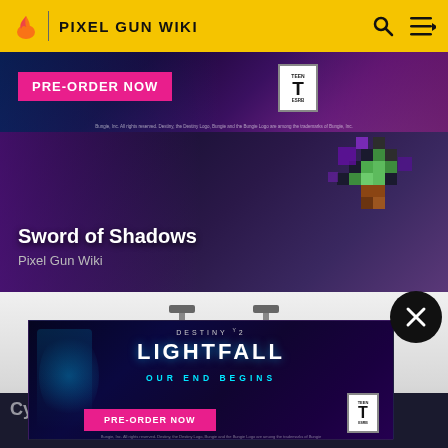PIXEL GUN WIKI
[Figure (screenshot): Destiny 2 Lightfall PRE-ORDER NOW advertisement banner with ESRB T rating]
[Figure (screenshot): Sword of Shadows pixel art card with purple/dark background - Pixel Gun Wiki]
[Figure (illustration): Yellow and black pixel art bee/robot creature with cylindrical objects, displayed on grey gradient background]
[Figure (screenshot): Destiny 2 Lightfall OUR END BEGINS PRE-ORDER NOW overlay advertisement with ESRB T rating]
Cyber...
Bungie, Inc. All rights reserved. Destiny, the Destiny Logo, Bungie and the Bungie Logo are among the trademarks of Bungie, Inc.